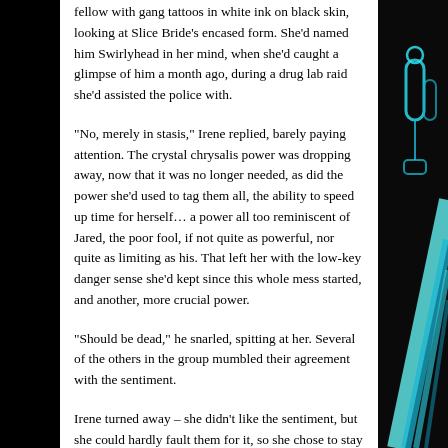fellow with gang tattoos in white ink on black skin, looking at Slice Bride's encased form. She'd named him Swirlyhead in her mind, when she'd caught a glimpse of him a month ago, during a drug lab raid she'd assisted the police with.
“No, merely in stasis,” Irene replied, barely paying attention. The crystal chrysalis power was dropping away, now that it was no longer needed, as did the power she'd used to tag them all, the ability to speed up time for herself… a power all too reminiscent of Jared, the poor fool, if not quite as powerful, nor quite as limiting as his. That left her with the low-key danger sense she'd kept since this whole mess started, and another, more crucial power.
“Should be dead,” he snarled, spitting at her. Several of the others in the group mumbled their agreement with the sentiment.
Irene turned away – she didn’t like the sentiment, but she could hardly fault them for it, so she chose to stay on task.